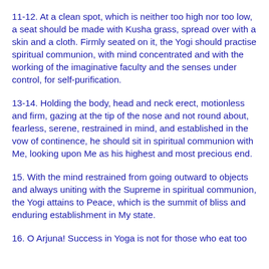11-12. At a clean spot, which is neither too high nor too low, a seat should be made with Kusha grass, spread over with a skin and a cloth. Firmly seated on it, the Yogi should practise spiritual communion, with mind concentrated and with the working of the imaginative faculty and the senses under control, for self-purification.
13-14. Holding the body, head and neck erect, motionless and firm, gazing at the tip of the nose and not round about, fearless, serene, restrained in mind, and established in the vow of continence, he should sit in spiritual communion with Me, looking upon Me as his highest and most precious end.
15. With the mind restrained from going outward to objects and always uniting with the Supreme in spiritual communion, the Yogi attains to Peace, which is the summit of bliss and enduring establishment in My state.
16. O Arjuna! Success in Yoga is not for those who eat too